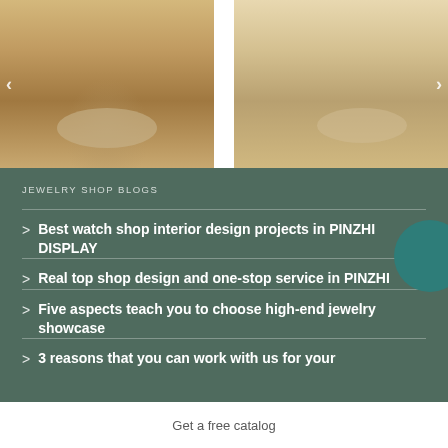[Figure (photo): Interior of a luxury jewelry shop with marble floors, display cases, and a round table in the center]
[Figure (photo): Interior of a jewelry store with long display counters and a round table]
JEWELRY SHOP BLOGS
Best watch shop interior design projects in PINZHI DISPLAY
Real top shop design and one-stop service in PINZHI
Five aspects teach you to choose high-end jewelry showcase
3 reasons that you can work with us for your
Get a free catalog